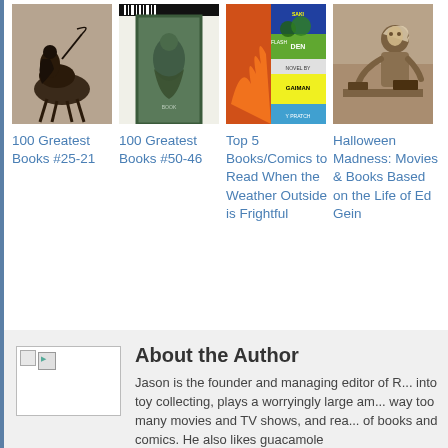[Figure (photo): Book thumbnail image for 100 Greatest Books #25-21, showing a dark figure on horseback with a scythe (grim reaper)]
100 Greatest Books #25-21
[Figure (photo): Book thumbnail image for 100 Greatest Books #50-46, showing a green illustrated book cover with a figure]
100 Greatest Books #50-46
[Figure (photo): Book thumbnail image for Top 5 Books/Comics to Read When the Weather Outside is Frightful, showing multiple colorful book covers including a Neil Gaiman/Terry Pratchett book]
Top 5 Books/Comics to Read When the Weather Outside is Frightful
[Figure (photo): Book thumbnail image for Halloween Madness: Movies & Books Based on the Life of Ed Gein, showing a person working]
Halloween Madness: Movies & Books Based on the Life of Ed Gein
[Figure (photo): Broken/missing author profile image placeholder]
About the Author
Jason is the founder and managing editor of R... into toy collecting, plays a worryingly large am... way too many movies and TV shows, and rea... of books and comics. He also likes guacamole